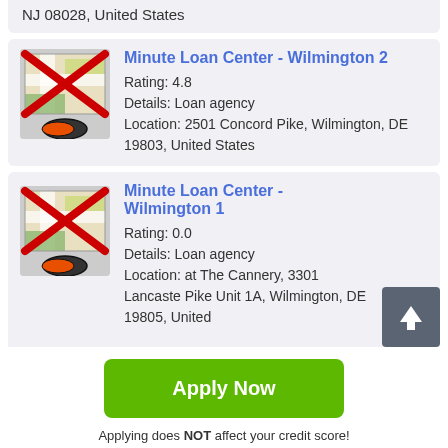NJ 08028, United States
[Figure (screenshot): Map icon with red X overlay for Minute Loan Center Wilmington 2]
Minute Loan Center - Wilmington 2
Rating: 4.8
Details: Loan agency
Location: 2501 Concord Pike, Wilmington, DE 19803, United States
[Figure (screenshot): Map icon with red X overlay for Minute Loan Center Wilmington 1]
Minute Loan Center - Wilmington 1
Rating: 0.0
Details: Loan agency
Location: at The Cannery, 3301 Lancaster Pike Unit 1A, Wilmington, DE 19805, United
Apply Now
Applying does NOT affect your credit score!
No credit check to apply.